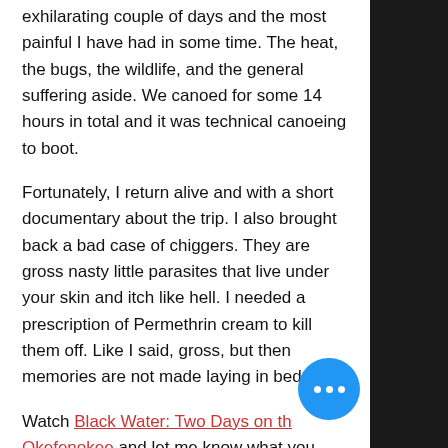exhilarating couple of days and the most painful I have had in some time. The heat, the bugs, the wildlife, and the general suffering aside. We canoed for some 14 hours in total and it was technical canoeing to boot.
Fortunately, I return alive and with a short documentary about the trip. I also brought back a bad case of chiggers. They are gross nasty little parasites that live under your skin and itch like hell. I needed a prescription of Permethrin cream to kill them off. Like I said, gross, but then memories are not made laying in bed.
Watch Black Water: Two Days on the Okefenokee and let me know what you